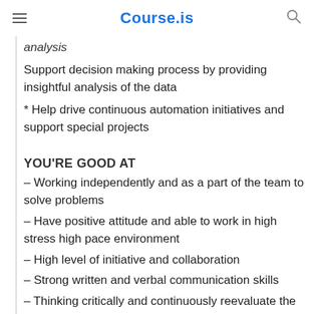Course.is
analysis
Support decision making process by providing insightful analysis of the data
* Help drive continuous automation initiatives and support special projects
YOU'RE GOOD AT
– Working independently and as a part of the team to solve problems
– Have positive attitude and able to work in high stress high pace environment
– High level of initiative and collaboration
– Strong written and verbal communication skills
– Thinking critically and continuously reevaluate the